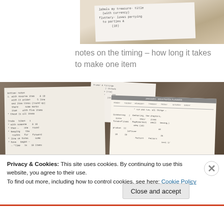[Figure (photo): Partial top of photo showing handwritten notes on paper resting on a textured surface]
notes on the timing – how long it takes to make one item
[Figure (photo): Photo of open notebooks/journals with handwritten notes spread out, including a planner page with 'JANUARY' header visible]
Privacy & Cookies: This site uses cookies. By continuing to use this website, you agree to their use.
To find out more, including how to control cookies, see here: Cookie Policy
Close and accept